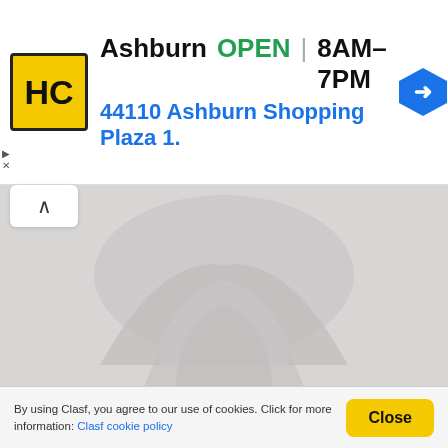[Figure (other): Advertisement banner for HC Ashburn store showing logo, OPEN status, hours 8AM-7PM, address 44110 Ashburn Shopping Plaza 1., and navigation icon]
[Figure (photo): Blurred placeholder image showing a grey silhouette shape, likely a house or property image that hasn't loaded]
Memory making masterpiece!! randpark ridge, randburg
South Africa
Property Address: 18 Naboom Road Randburg Randpark Ridge Property For Sale, Randburg Welcome to one of Randpark Ridge's finest! This gorgeous home resonates with character, charm and class. Each and every room has a story and every available space utilised to it's full
By using Clasf, you agree to our use of cookies. Click for more information: Clasf cookie policy